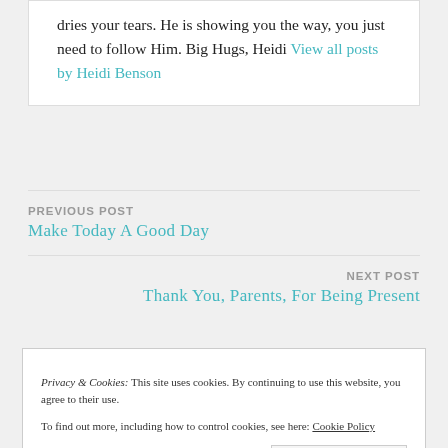dries your tears. He is showing you the way, you just need to follow Him. Big Hugs, Heidi View all posts by Heidi Benson
PREVIOUS POST
Make Today A Good Day
NEXT POST
Thank You, Parents, For Being Present
Privacy & Cookies: This site uses cookies. By continuing to use this website, you agree to their use. To find out more, including how to control cookies, see here: Cookie Policy
Close and accept
fields are marked